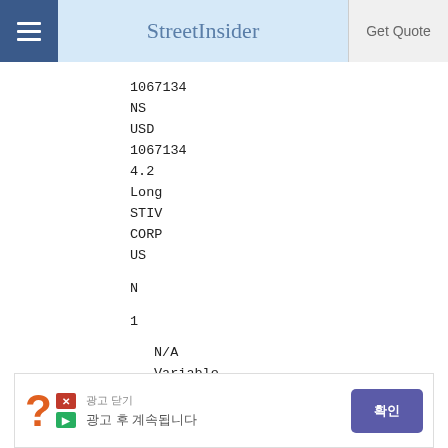StreetInsider | Get Quote
1067134
NS
USD
1067134
4.2
Long
STIV
CORP
US
N
1
N/A
Variable
0.23
N
N
[Figure (other): Advertisement banner with question mark icon, Korean text, and purple call-to-action button]